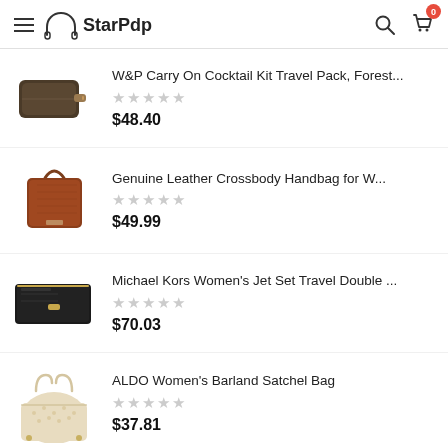StarPdp
[Figure (photo): Dark olive/brown rectangular toiletry/travel pouch with zipper]
W&P Carry On Cocktail Kit Travel Pack, Forest...
$48.40
[Figure (photo): Brown genuine leather tote/crossbody handbag with handle and strap]
Genuine Leather Crossbody Handbag for W...
$49.99
[Figure (photo): Black Michael Kors bifold wallet/clutch]
Michael Kors Women's Jet Set Travel Double ...
$70.03
[Figure (photo): Cream/beige ALDO structured satchel handbag with top handles]
ALDO Women's Barland Satchel Bag
$37.81